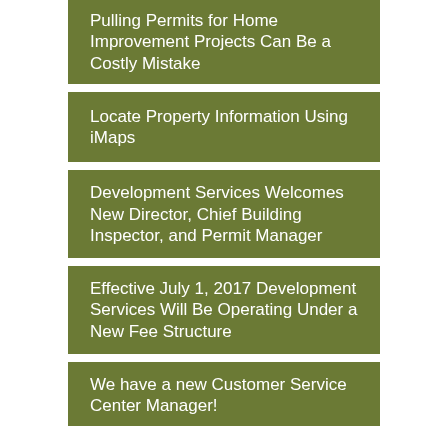Pulling Permits for Home Improvement Projects Can Be a Costly Mistake
Locate Property Information Using iMaps
Development Services Welcomes New Director, Chief Building Inspector, and Permit Manager
Effective July 1, 2017 Development Services Will Be Operating Under a New Fee Structure
We have a new Customer Service Center Manager!